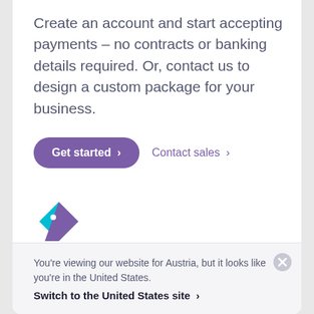Create an account and start accepting payments – no contracts or banking details required. Or, contact us to design a custom package for your business.
Get started >
Contact sales >
[Figure (logo): Stripe tag/price-tag logo icon in teal and purple colors]
Always know what you pay
You're viewing our website for Austria, but it looks like you're in the United States.
Switch to the United States site >